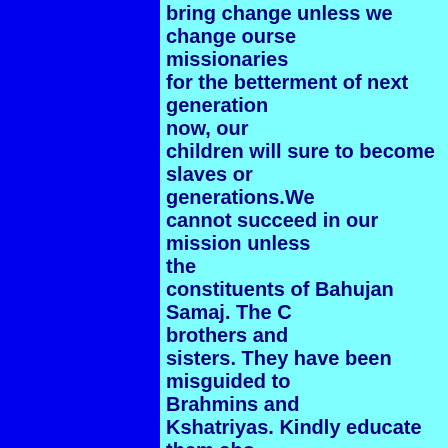bring change unless we change ourselves missionaries for the betterment of next generation now, our children will sure to become slaves on generations.We cannot succeed in our mission unless the constituents of Bahujan Samaj. The brothers and sisters. They have been misguided to Brahmins and Kshatriyas. Kindly educate them about Babasaheb Ambedkar in getting them the Article Constitution. The recommendations of Mandal Commission implemented only because of the struggles of BSP under the leadership Kanshi Ramji. In 1990, when Mr. V.P. Singh sought to form his